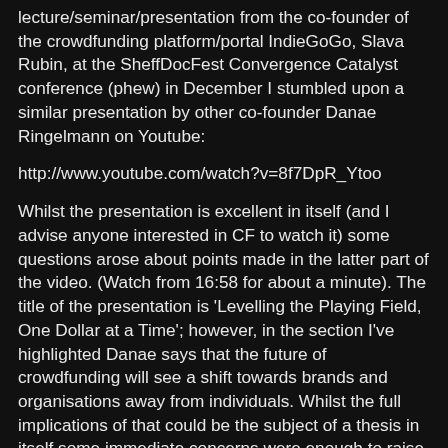lecture/seminar/presentation from the co-founder of the crowdfunding platform/portal IndieGoGo, Slava Rubin, at the SheffDocFest Convergence Catalyst conference (phew) in December I stumbled upon a similar presentation by other co-founder Danae Ringelmann on Youtube:
http://www.youtube.com/watch?v=8f7DpR_Ytoo
Whilst the presentation is excellent in itself (and I advise anyone interested in CF to watch it) some questions arose about points made in the latter part of the video. (Watch from 16:58 for about a minute). The title of the presentation is 'Levelling the Playing Field, One Dollar at a Time'; however, in the section I've highlighted Danae says that the future of crowdfunding will see a shift towards brands and organisations away from individuals. Whilst the full implications of that could be the subject of a thesis in itself some immediate concerns were enough to raise an eyebrow. When big business inevitably senses that they can capitalise from moving in to this form of financing what happens to the little guy? In a world where Coca-Cola or Nike (or any other multi-national) are running crowdfunding